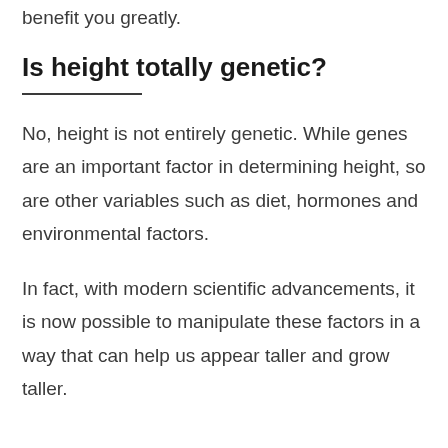benefit you greatly.
Is height totally genetic?
No, height is not entirely genetic. While genes are an important factor in determining height, so are other variables such as diet, hormones and environmental factors.
In fact, with modern scientific advancements, it is now possible to manipulate these factors in a way that can help us appear taller and grow taller.